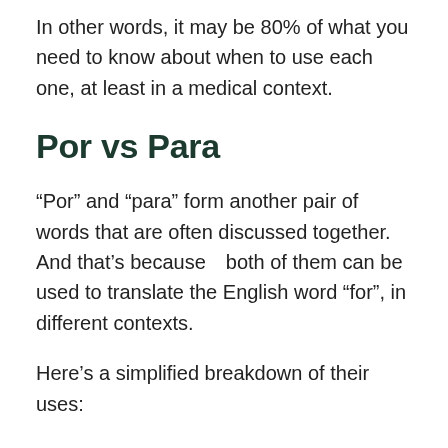In other words, it may be 80% of what you need to know about when to use each one, at least in a medical context.
Por vs Para
“Por” and “para” form another pair of words that are often discussed together.  And that’s because both of them can be used to translate the English word “for”, in different contexts.
Here’s a simplified breakdown of their uses:
Por